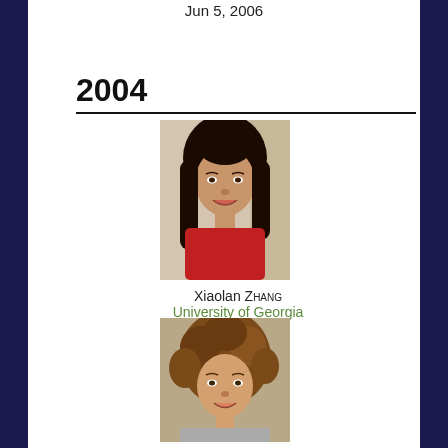Jun 5, 2006
2004
[Figure (photo): Portrait photo of Xiaolan Zhang, a young woman with long dark hair, wearing a red top]
Xiaolan Zhang
University of Georgia
Oct 30, 2004
[Figure (photo): Portrait photo of a young person with curly/wavy brown hair]